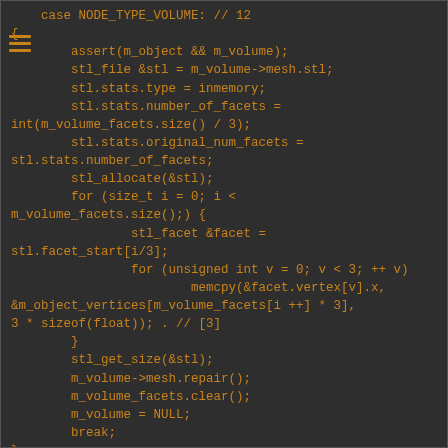[Figure (screenshot): Source code screenshot showing a C++ case block for NODE_TYPE_VOLUME (case 12), with code to assert m_object and m_volume, set stl file stats (type, number_of_facets, original_num_facets), allocate STL, iterate over volume facets with a for loop copying vertex data using memcpy, then call stl_get_size, repair mesh, clear facets, set m_volume to NULL, and break.]